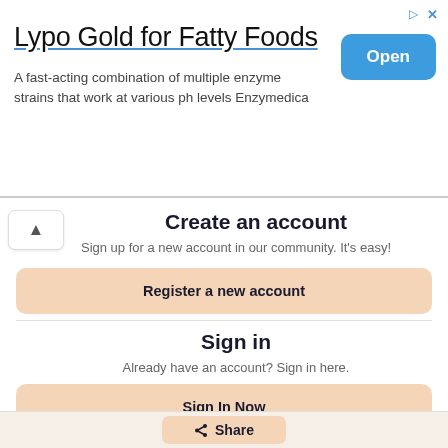[Figure (screenshot): Advertisement banner for 'Lypo Gold for Fatty Foods' by Enzymedica with an Open button]
Create an account
Sign up for a new account in our community. It's easy!
Register a new account
Sign in
Already have an account? Sign in here.
Sign In Now
Share